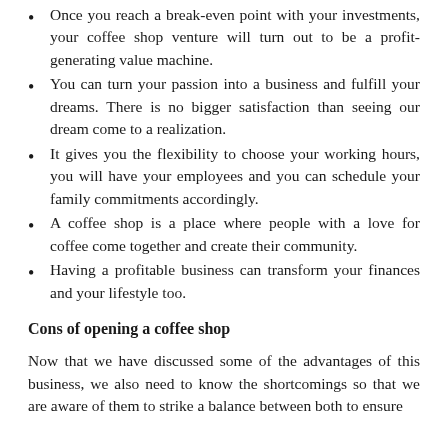Once you reach a break-even point with your investments, your coffee shop venture will turn out to be a profit-generating value machine.
You can turn your passion into a business and fulfill your dreams. There is no bigger satisfaction than seeing our dream come to a realization.
It gives you the flexibility to choose your working hours, you will have your employees and you can schedule your family commitments accordingly.
A coffee shop is a place where people with a love for coffee come together and create their community.
Having a profitable business can transform your finances and your lifestyle too.
Cons of opening a coffee shop
Now that we have discussed some of the advantages of this business, we also need to know the shortcomings so that we are aware of them to strike a balance between both to ensure